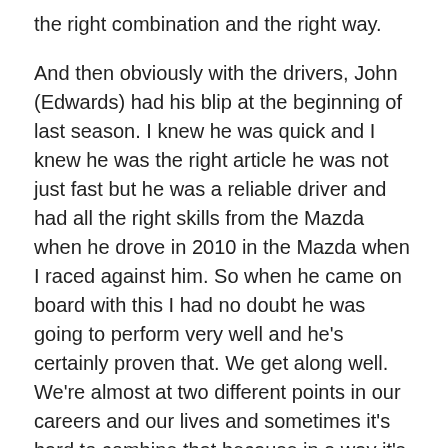the right combination and the right way.
And then obviously with the drivers, John (Edwards) had his blip at the beginning of last season. I knew he was quick and I knew he was the right article he was not just fast but he was a reliable driver and had all the right skills from the Mazda when he drove in 2010 in the Mazda when I raced against him. So when he came on board with this I had no doubt he was going to perform very well and he's certainly proven that. We get along well. We're almost at two different points in our careers and our lives and sometimes it's hard to combine that because in a way it's possibly easier because you've got two guys fighting for all the same things the same two young guys fighting or two old has-beens that are trying to survive.
I don't feel that I'm at the end of my career, but I'm